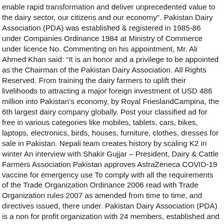enable rapid transformation and deliver unprecedented value to the dairy sector, our citizens and our economy". Pakistan Dairy Association (PDA) was established & registered in 1985-86 under Companies Ordinance 1984 at Ministry of Commerce under licence No. Commenting on his appointment, Mr. Ali Ahmed Khan said: “It is an honor and a privilege to be appointed as the Chairman of the Pakistan Dairy Association. All Rights Reserved. From training the dairy farmers to uplift their livelihoods to attracting a major foreign investment of USD 486 million into Pakistan’s economy, by Royal FrieslandCampina, the 6th largest dairy company globally. Post your classified ad for free in various categories like mobiles, tablets, cars, bikes, laptops, electronics, birds, houses, furniture, clothes, dresses for sale in Pakistan. Nepali team creates history by scaling K2 in winter An interview with Shakir Gujjar – President, Dairy & Cattle Farmers Association Pakistan approves AstraZeneca COVID-19 vaccine for emergency use To comply with all the requirements of the Trade Organization Ordinance 2006 read with Trade Organization rules 2007 as amended from time to time, and directives issued, there under. Pakistan Dairy Association (PDA) is a non for profit organization with 24 members, established and registered in 1985-86 under the Companies Ordinance 1984. Pakistan Dairy Association provides numerous services which include training programmes to improve competence, promote skill development, establishment of key infrastructure to facilitate dairy farmers and initiatives that are rounded to nine hours better health, business and agribusiness for various...